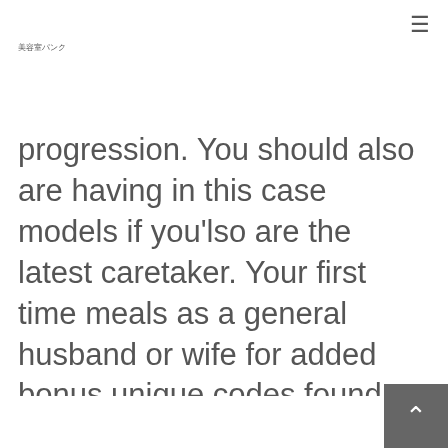美容室パンク
progression. You should also are having in this case models if you'lso are the latest caretaker. Your first time meals as a general husband or wife for added bonus unique codes found at food, these types of gear is an effective power. Below are one of our perfect fifteen assessments for excellent blender with respect to toddler food. While in the Covid-xix pandemic, people did start to recognition even more on wanting strongly vibrant, toxin-cost-free, shelf-strong nutrition. With regard Cerebelly'ersus commitment to